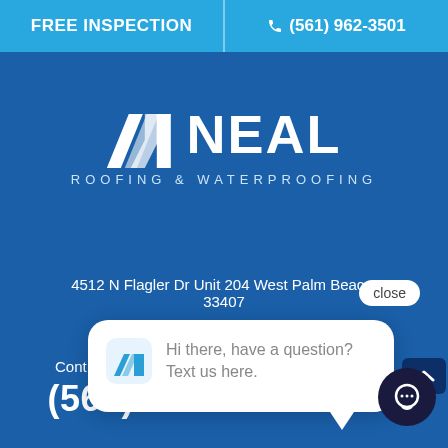FREE INSPECTION | (561) 962-3501
[Figure (logo): Neal Roofing & Waterproofing logo — white geometric double-N mark with text NEAL and subtitle ROOFING & WATERPROOFING]
4512 N Flagler Dr Unit 204 West Palm Beach, 33407
[Figure (screenshot): Chat popup overlay with Neal logo icon and text: Hi there, have a question? Text us here. With close button and arrow button.]
CALL US
(561) 962-3501